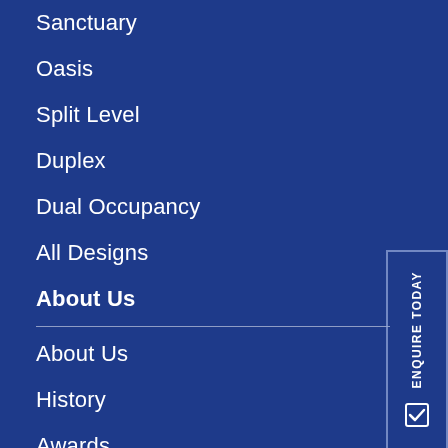Sanctuary
Oasis
Split Level
Duplex
Dual Occupancy
All Designs
About Us
About Us
History
Awards
Contact Us
[Figure (other): Vertical 'ENQUIRE TODAY' button with checkbox icon, positioned on the right side]